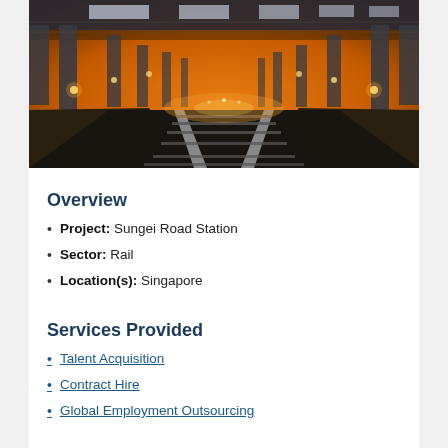[Figure (photo): Night-time railway station with multiple tracks converging toward the horizon, orange-lit sky, illuminated overhead canopy structure with pillars on both sides]
Overview
Project: Sungei Road Station
Sector: Rail
Location(s): Singapore
Services Provided
Talent Acquisition
Contract Hire
Global Employment Outsourcing